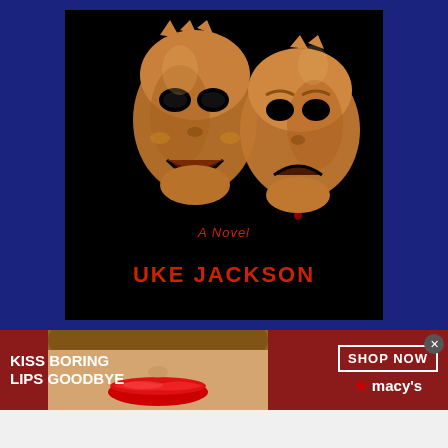[Figure (illustration): Book cover on blue background. Black cover with two gold theater comedy/tragedy masks — one laughing, one crying with a drop of blood. Text reads 'A Novel' in italic dark red and 'UKE JACKSON' in bold dark red below.]
[Figure (photo): Advertisement banner with dark red background. Left side shows text 'KISS BORING LIPS GOODBYE' in white bold. Center shows a woman's face cropped to show lips with red lipstick. Right side shows 'SHOP NOW' in a white box and 'macys' with a red star logo.]